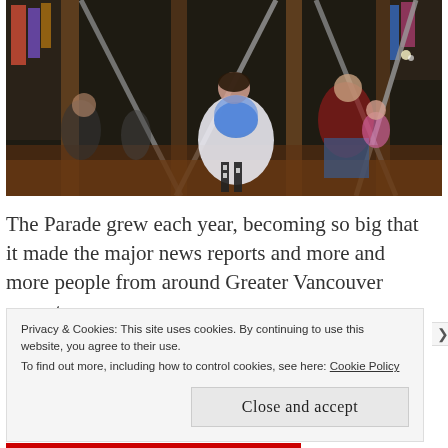[Figure (photo): Nighttime photo of children and adults in Halloween costumes on a playground with wooden posts and swing set structures. A child dressed as Alice in Wonderland is visible in the center wearing a blue dress, white apron, and striped stockings.]
The Parade grew each year, becoming so big that it made the major news reports and more and more people from around Greater Vancouver came to
Privacy & Cookies: This site uses cookies. By continuing to use this website, you agree to their use.
To find out more, including how to control cookies, see here: Cookie Policy

Close and accept